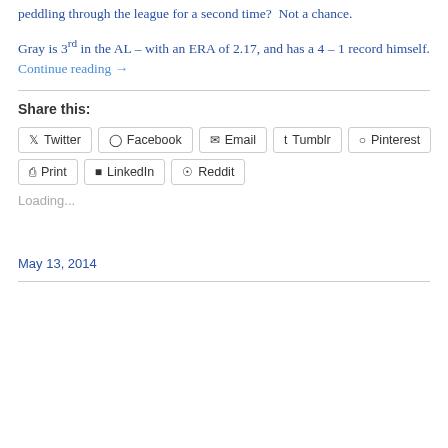peddling through the league for a second time?  Not a chance.
Gray is 3rd in the AL – with an ERA of 2.17, and has a 4 – 1 record himself. Continue reading →
Share this:
Loading...
May 13, 2014